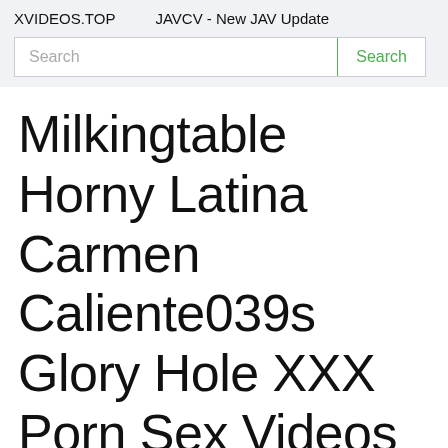XVIDEOS.TOP    JAVCV - New JAV Update
Search
Milkingtable Horny Latina Carmen Caliente039s Glory Hole XXX Porn Sex Videos
[Figure (photo): Two video thumbnails side by side at bottom of page. Left thumbnail shows a dark abstract image. Right thumbnail shows a person with long brown hair.]